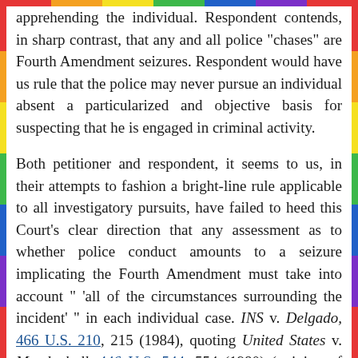apprehending the individual. Respondent contends, in sharp contrast, that any and all police "chases" are Fourth Amendment seizures. Respondent would have us rule that the police may never pursue an individual absent a particularized and objective basis for suspecting that he is engaged in criminal activity.
Both petitioner and respondent, it seems to us, in their attempts to fashion a bright-line rule applicable to all investigatory pursuits, have failed to heed this Court's clear direction that any assessment as to whether police conduct amounts to a seizure implicating the Fourth Amendment must take into account " 'all of the circumstances surrounding the incident' " in each individual case. INS v. Delgado, 466 U.S. 210, 215 (1984), quoting United States v. Mendenhall, 446 U.S. 544, 554 (1980) (opinion of Stewart, J.). Rather than adopting either rule proposed by the parties and determining that an investigatory pursuit is